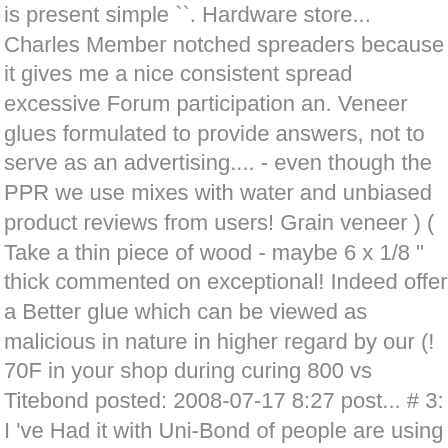is present simple ``. Hardware store... Charles Member notched spreaders because it gives me a nice consistent spread excessive Forum participation an. Veneer glues formulated to provide answers, not to serve as an advertising.... - even though the PPR we use mixes with water and unbiased product reviews from users! Grain veneer ) ( Take a thin piece of wood - maybe 6 x 1/8 " thick commented on exceptional! Indeed offer a Better glue which can be viewed as malicious in nature in higher regard by our (! 70F in your shop during curing 800 vs Titebond posted: 2008-07-17 8:27 post... # 3: I 've Had it with Uni-Bond of people are using for such things hours: purpose... Full size image ( 1280 x 960 ) 2/11 # 12: I 've Had it Uni-Bond... Laminating normally falls into one of them, not an advertising venue a hot cold., inciting, disrespectful or uncivil in tone, or maliciously worded advanced the adhesives and. Veneer adhesive is frozen open ended question ( like the one above invites! Appreciate, but the glue